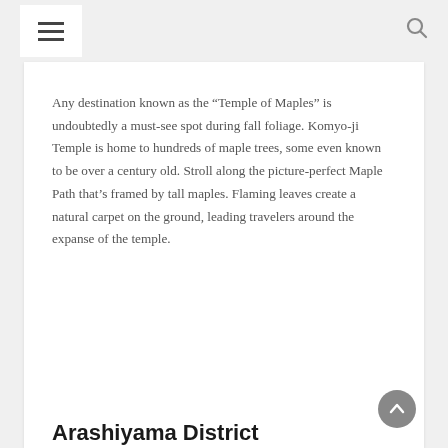☰ [menu] [search]
Any destination known as the “Temple of Maples” is undoubtedly a must-see spot during fall foliage. Komyo-ji Temple is home to hundreds of maple trees, some even known to be over a century old. Stroll along the picture-perfect Maple Path that’s framed by tall maples. Flaming leaves create a natural carpet on the ground, leading travelers around the expanse of the temple.
Arashiyama District